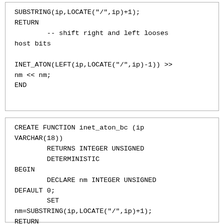SUBSTRING(ip,LOCATE("/",ip)+1);
RETURN
        -- shift right and left looses host bits

INET_ATON(LEFT(ip,LOCATE("/",ip)-1)) >> nm << nm;
END
CREATE FUNCTION inet_aton_bc (ip VARCHAR(18))
        RETURNS INTEGER UNSIGNED
        DETERMINISTIC
BEGIN
        DECLARE nm INTEGER UNSIGNED DEFAULT 0;
        SET
nm=SUBSTRING(ip,LOCATE("/",ip)+1);
RETURN